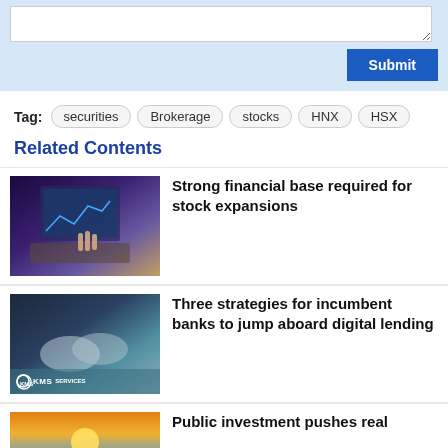[Figure (screenshot): Web form textarea with Submit button on light blue background]
Tag: securities Brokerage stocks HNX HSX
Related Contents
[Figure (photo): Person using a laptop with financial charts on screen]
Strong financial base required for stock expansions
[Figure (photo): Handshake with KMS logo overlay, digital lending concept]
Three strategies for incumbent banks to jump aboard digital lending
[Figure (photo): Sunset scene, public investment article thumbnail]
Public investment pushes real